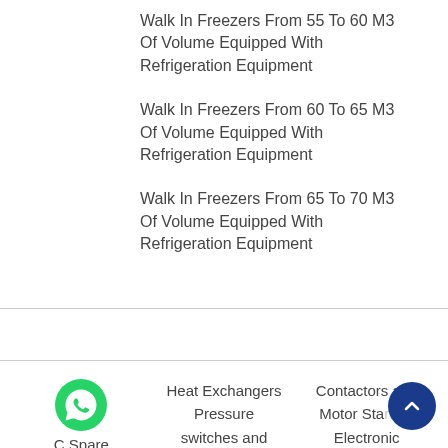Walk In Freezers From 55 To 60 M3 Of Volume Equipped With Refrigeration Equipment
Walk In Freezers From 60 To 65 M3 Of Volume Equipped With Refrigeration Equipment
Walk In Freezers From 65 To 70 M3 Of Volume Equipped With Refrigeration Equipment
C Spare Parts OEM Compressors | Heat Exchangers Pressure switches and | Contactors and Motor Starters Electronic